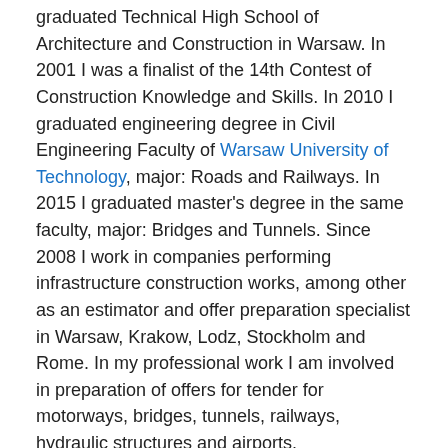graduated Technical High School of Architecture and Construction in Warsaw. In 2001 I was a finalist of the 14th Contest of Construction Knowledge and Skills. In 2010 I graduated engineering degree in Civil Engineering Faculty of Warsaw University of Technology, major: Roads and Railways. In 2015 I graduated master's degree in the same faculty, major: Bridges and Tunnels. Since 2008 I work in companies performing infrastructure construction works, among other as an estimator and offer preparation specialist in Warsaw, Krakow, Lodz, Stockholm and Rome. In my professional work I am involved in preparation of offers for tender for motorways, bridges, tunnels, railways, hydraulic structures and airports.
Activity related to Belarus
From 2003 I am interested in Belarus - most of all in the